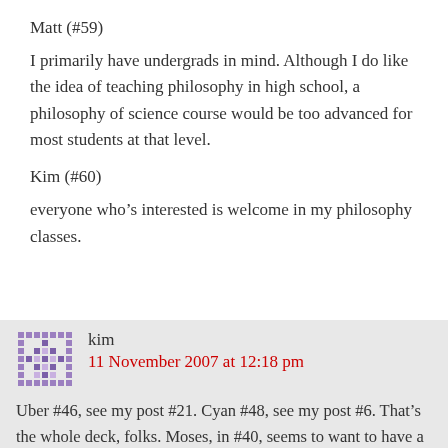Matt (#59)
I primarily have undergrads in mind. Although I do like the idea of teaching philosophy in high school, a philosophy of science course would be too advanced for most students at that level.
Kim (#60)
everyone who’s interested is welcome in my philosophy classes.
63.
kim
11 November 2007 at 12:18 pm
Uber #46, see my post #21. Cyan #48, see my post #6. That’s the whole deck, folks. Moses, in #40, seems to want to have a word with you, though.